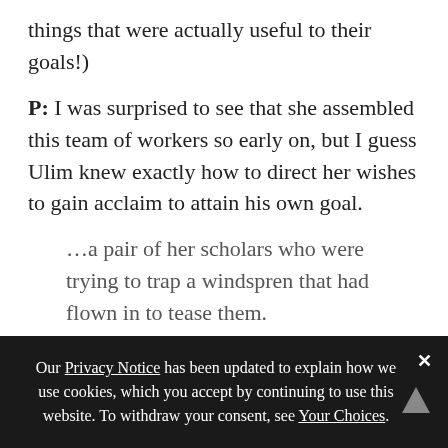things that were actually useful to their goals!)
P: I was surprised to see that she assembled this team of workers so early on, but I guess Ulim knew exactly how to direct her wishes to gain acclaim to attain his own goal.
…a pair of her scholars who were trying to trap a windspren that had flown in to tease them.
A: Is this a hint that windspren give them nimbleform? Or are they just guessing that every spren ought to give some form, and they're trying to trap whatever they can for testing?
Our Privacy Notice has been updated to explain how we use cookies, which you accept by continuing to use this website. To withdraw your consent, see Your Choices.